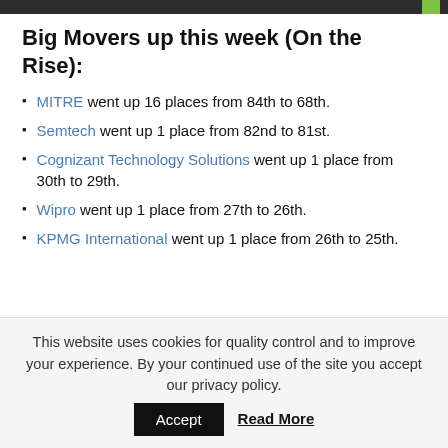Big Movers up this week (On the Rise):
MITRE went up 16 places from 84th to 68th.
Semtech went up 1 place from 82nd to 81st.
Cognizant Technology Solutions went up 1 place from 30th to 29th.
Wipro went up 1 place from 27th to 26th.
KPMG International went up 1 place from 26th to 25th.
This website uses cookies for quality control and to improve your experience. By your continued use of the site you accept our privacy policy.